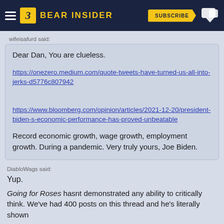BEAR INSIDER | SUBSCRIBE
wifeisafurd said:
Dear Dan, You are clueless.
https://onezero.medium.com/quote-tweets-have-turned-us-all-into-jerks-d5776c807942
https://www.bloomberg.com/opinion/articles/2021-12-20/president-biden-s-economic-performance-has-proved-unbeatable
Record economic growth, wage growth, employment growth. During a pandemic. Very truly yours, Joe Biden.
DiabloWags said:
Yup.
Going for Roses hasnt demonstrated any ability to critically think. We've had 400 posts on this thread and he's literally shown